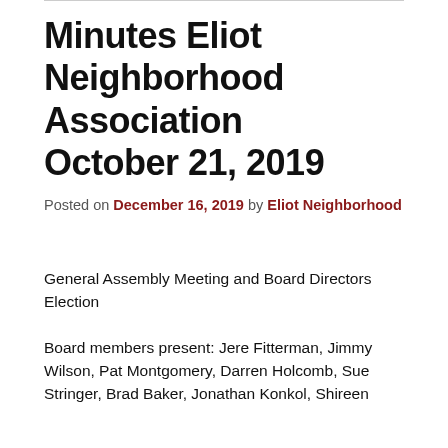Minutes Eliot Neighborhood Association October 21, 2019
Posted on December 16, 2019 by Eliot Neighborhood
General Assembly Meeting and Board Directors Election
Board members present: Jere Fitterman, Jimmy Wilson, Pat Montgomery, Darren Holcomb, Sue Stringer, Brad Baker, Jonathan Konkol, Shireen Herrera (truncated)